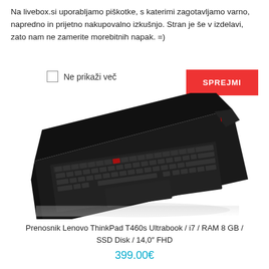Na livebox.si uporabljamo piškotke, s katerimi zagotavljamo varno, napredno in prijetno nakupovalno izkušnjo. Stran je še v izdelavi, zato nam ne zamerite morebitnih napak. =)
Ne prikaži več
SPREJMI
[Figure (photo): Lenovo ThinkPad T460s laptop seen from above at an angle, showing keyboard and trackpad on white background]
Prenosnik Lenovo ThinkPad T460s Ultrabook / i7 / RAM 8 GB / SSD Disk / 14,0″ FHD
399.00€